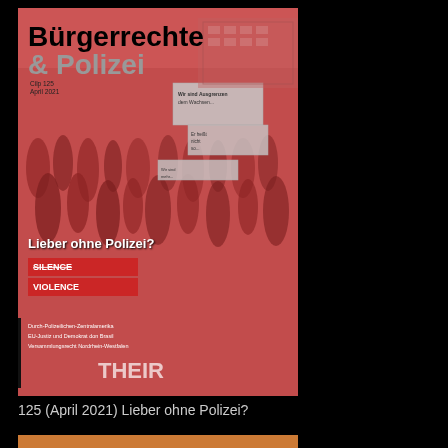[Figure (illustration): Magazine cover of 'Bürgerrechte & Polizei' issue 125, April 2021, with red-tinted protest crowd photo and headline 'Lieber ohne Polizei?'. Protest signs reading 'Silence is Violence' visible in crowd.]
125 (April 2021) Lieber ohne Polizei?
[Figure (illustration): Partial magazine cover of 'Bürgerrechte & Polizei' issue 124, December 2020, with orange-tinted background photo and partially visible text.]